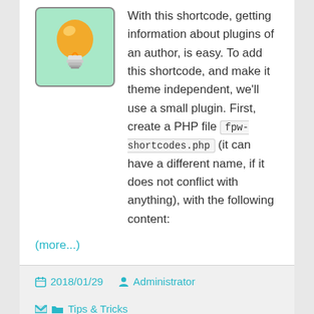[Figure (illustration): Light bulb icon on a mint green background, inside a rounded rectangle border]
With this shortcode, getting information about plugins of an author, is easy. To add this shortcode, and make it theme independent, we'll use a small plugin. First, create a PHP file fpw-shortcodes.php (it can have a different name, if it does not conflict with anything), with the following content:
(more...)
2018/01/29   Administrator   Tips & Tricks
1 Comment